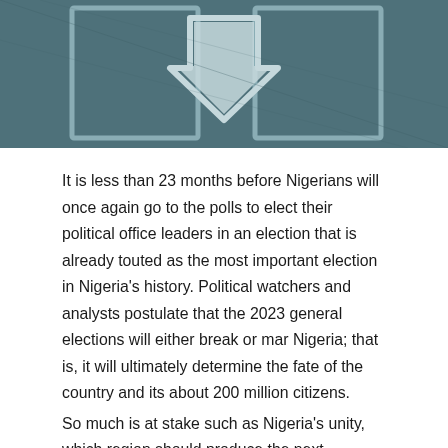[Figure (photo): Partial image of a dark teal/green flag or ballot graphic with a downward-pointing arrow symbol in the center, and rectangular frame outlines on either side, suggesting a voting/election theme.]
It is less than 23 months before Nigerians will once again go to the polls to elect their political office leaders in an election that is already touted as the most important election in Nigeria's history. Political watchers and analysts postulate that the 2023 general elections will either break or mar Nigeria; that is, it will ultimately determine the fate of the country and its about 200 million citizens.
So much is at stake such as Nigeria's unity, which region should produce the next president, who should be Nigeria's president, restructuring, and so on. Unlike in 2015, when the choices before Nigerians were either APC or PDP, the choices ahead of the 2023 elections are plethora, unique and diverse in their ways. The